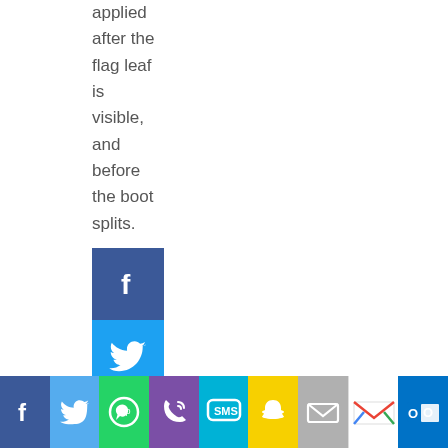applied after the flag leaf is visible, and before the boot splits.
[Figure (infographic): Vertical stack of social share buttons: Facebook, Twitter, Email, Pinterest, LinkedIn, Google+]
[Figure (infographic): Horizontal bottom bar of social share icons: Facebook, Twitter, WhatsApp, Phone, SMS, Snapchat, Email, Gmail, Outlook]